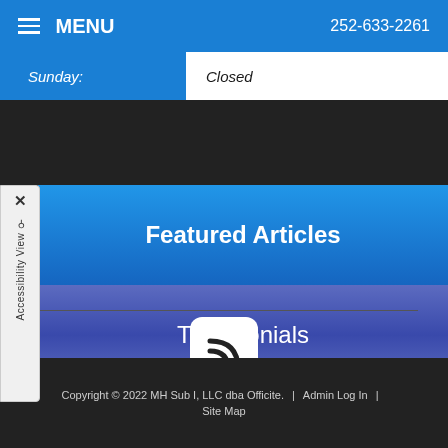MENU | 252-633-2261
| Day | Hours |
| --- | --- |
| Sunday: | Closed |
Featured Articles
Testimonials
[Figure (logo): RSS feed icon — white rounded square with RSS signal symbol]
Copyright © 2022 MH Sub I, LLC dba Officite. | Admin Log In | Site Map